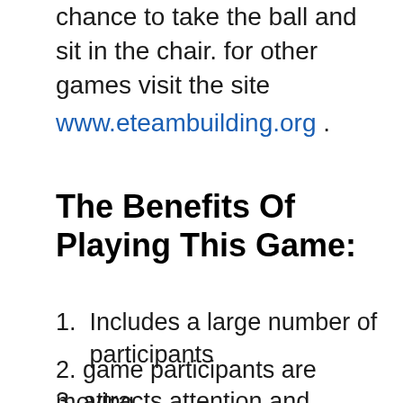chance to take the ball and sit in the chair. for other games visit the site www.eteambuilding.org .
The Benefits Of Playing This Game:
1. Includes a large number of participants
2. game participants are moving
3. attracts attention and concentration